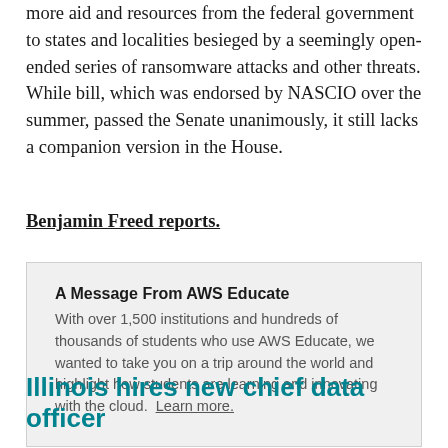more aid and resources from the federal government to states and localities besieged by a seemingly open-ended series of ransomware attacks and other threats. While bill, which was endorsed by NASCIO over the summer, passed the Senate unanimously, it still lacks a companion version in the House.
Benjamin Freed reports.
A Message From AWS Educate
With over 1,500 institutions and hundreds of thousands of students who use AWS Educate, we wanted to take you on a trip around the world and highlight how students are learning and innovating with the cloud. Learn more.
Illinois hires new chief data officer